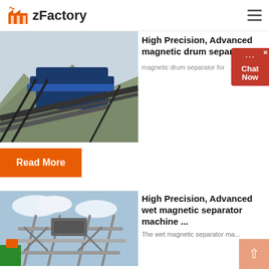zFactory
[Figure (photo): Industrial magnetic drum separator machinery with conveyor belts against mountain backdrop]
High Precision, Advanced magnetic drum separator fo...
magnetic drum separator for...
Read More
[Figure (photo): Industrial wet magnetic separator machine with metal framework structure outdoors]
High Precision, Advanced wet magnetic separator machine ...
The wet magnetic separator ma...